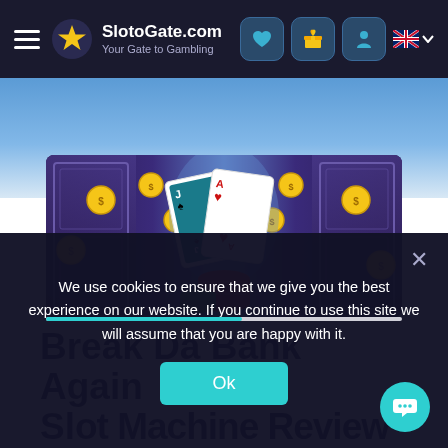SlotoGate.com — Your Gate to Gambling
[Figure (screenshot): Game banner image for Break Da Bank Again slot — purple themed casino backdrop with gold coins, playing cards (Jack of spades and Ace of hearts), and poker chips in red and green]
Break Da Bank Again Slot Machine Review
We use cookies to ensure that we give you the best experience on our website. If you continue to use this site we will assume that you are happy with it.